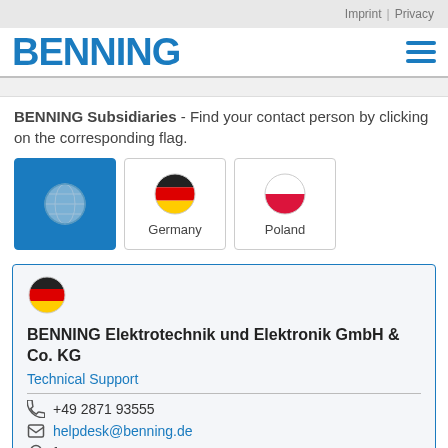Imprint | Privacy
[Figure (logo): BENNING logo in blue with hamburger menu icon]
BENNING Subsidiaries - Find your contact person by clicking on the corresponding flag.
[Figure (infographic): Three flag buttons: active globe icon (blue background), Germany flag, Poland flag]
BENNING Elektrotechnik und Elektronik GmbH & Co. KG
Technical Support
+49 2871 93555
helpdesk@benning.de
factory I